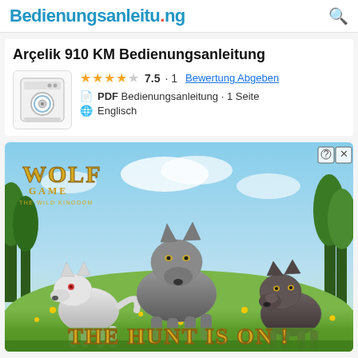Bedienungsanleitu.ng
Arçelik 910 KM Bedienungsanleitung
★★★★☆ 7.5 · 1 Bewertung Abgeben
PDF Bedienungsanleitung · 1 Seite
Englisch
[Figure (photo): Advertisement for Wolf Game: The Wild Kingdom showing three wolves (white, grey, dark) in a meadow with yellow flowers. Text reads 'THE HUNT IS ON!' with the Wolf Game logo in the top left.]